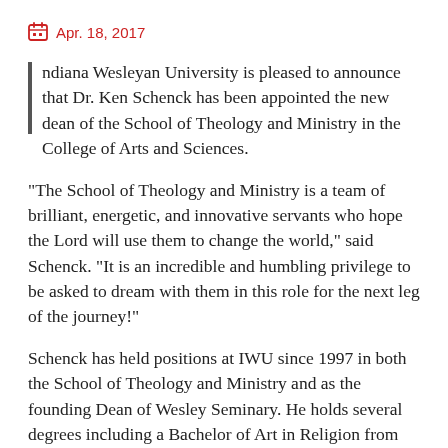Apr. 18, 2017
Indiana Wesleyan University is pleased to announce that Dr. Ken Schenck has been appointed the new dean of the School of Theology and Ministry in the College of Arts and Sciences.
“The School of Theology and Ministry is a team of brilliant, energetic, and innovative servants who hope the Lord will use them to change the world,” said Schenck. “It is an incredible and humbling privilege to be asked to dream with them in this role for the next leg of the journey!”
Schenck has held positions at IWU since 1997 in both the School of Theology and Ministry and as the founding Dean of Wesley Seminary. He holds several degrees including a Bachelor of Art in Religion from Southern Wesleyan University, a Master of Divinity